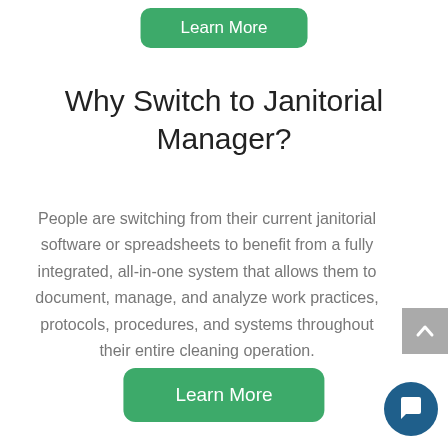Learn More
Why Switch to Janitorial Manager?
People are switching from their current janitorial software or spreadsheets to benefit from a fully integrated, all-in-one system that allows them to document, manage, and analyze work practices, protocols, procedures, and systems throughout their entire cleaning operation.
Learn More